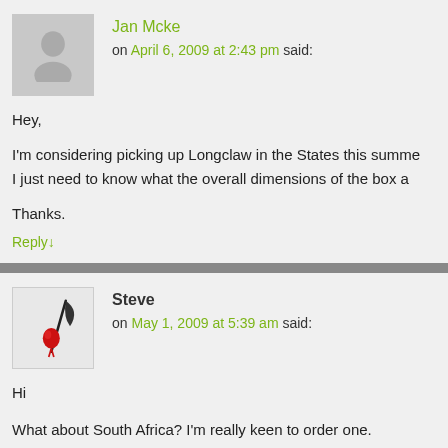Jan Mcke
on April 6, 2009 at 2:43 pm said:
Hey,

I'm considering picking up Longclaw in the States this summer. I just need to know what the overall dimensions of the box a

Thanks.
Reply↓
Steve
on May 1, 2009 at 5:39 am said:
Hi

What about South Africa? I'm really keen to order one.
Reply↓